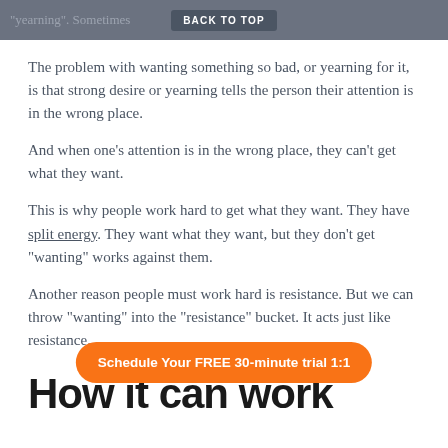"yearning". Sometimes ... "I want X so bad!"
The problem with wanting something so bad, or yearning for it, is that strong desire or yearning tells the person their attention is in the wrong place.
And when one’s attention is in the wrong place, they can’t get what they want.
This is why people work hard to get what they want. They have split energy. They want what they want, but they don’t get “wanting” works against them.
Another reason people must work hard is resistance. But we can throw “wanting” into the “resistance” bucket. It acts just like resistance.
How it can work
Schedule Your FREE 30-minute trial 1:1